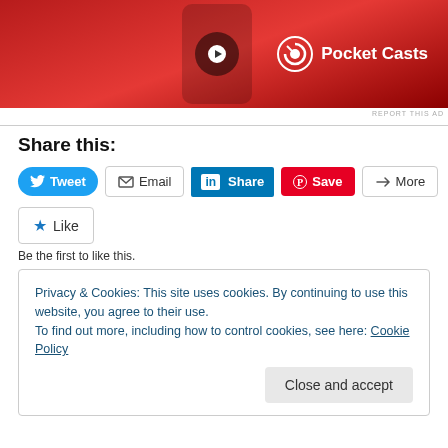[Figure (illustration): Pocket Casts app advertisement with red background showing a smartphone with the app interface and Pocket Casts logo in white]
REPORT THIS AD
Share this:
[Figure (screenshot): Share buttons row: Tweet (Twitter/blue), Email (outline), Share (LinkedIn/blue), Save (Pinterest/red), More (outline)]
[Figure (screenshot): Like button with star icon]
Be the first to like this.
Privacy & Cookies: This site uses cookies. By continuing to use this website, you agree to their use.
To find out more, including how to control cookies, see here: Cookie Policy
Close and accept